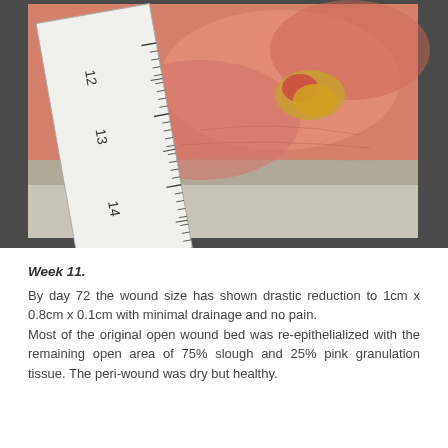[Figure (photo): Clinical photograph of a wound on skin with a ruler showing measurements from approximately 12 to 15 cm. The wound shows a small red and yellow lesion on pinkish-red tissue. The ruler is positioned diagonally across the left side of the image.]
Week 11. By day 72 the wound size has shown drastic reduction to 1cm x 0.8cm x 0.1cm with minimal drainage and no pain. Most of the original open wound bed was re-epithelialized with the remaining open area of 75% slough and 25% pink granulation tissue. The peri-wound was dry but healthy.